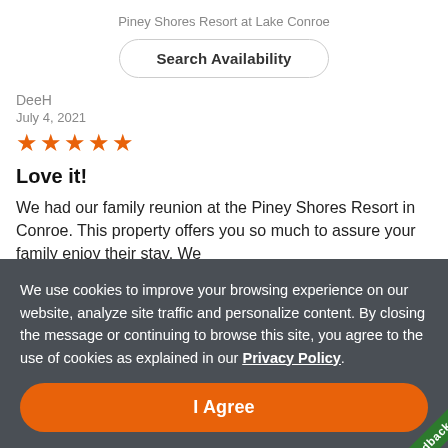Piney Shores Resort at Lake Conroe
Search Availability
DeeH
July 4, 2021
[Figure (other): 5 orange star rating icons]
Love it!
We had our family reunion at the Piney Shores Resort in Conroe. This property offers you so much to assure your family enjoy their stay. We would...
We use cookies to improve your browsing experience on our website, analyze site traffic and personalize content. By closing the message or continuing to browse this site, you agree to the use of cookies as explained in our Privacy Policy.
I Agree